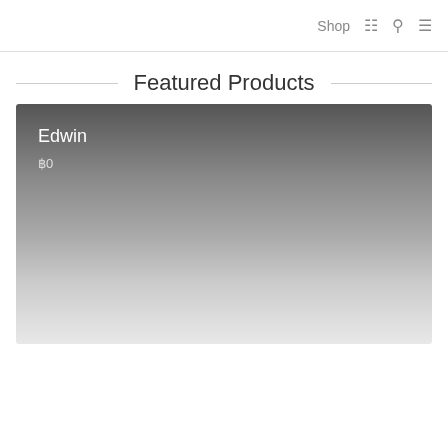Shop 🛒 🔍 ☰
Featured Products
[Figure (photo): Product card with dark-to-light gradient background showing product name 'Edwin' and price '฿0']